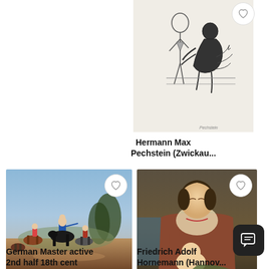[Figure (illustration): A black and white sketch/etching showing two figures — a nude figure and a dark crouching figure interacting dramatically]
Hermann Max Pechstein (Zwickau...
[Figure (photo): A painting of a military battle scene with soldiers on horseback, one figure in blue coat commanding]
German Master active 2nd half 18th cent
[Figure (photo): A painting of a mother with downcast eyes breastfeeding or holding a baby, wearing a red/rust dress with lace]
Friedrich Adolf Hornemann (Hannov...